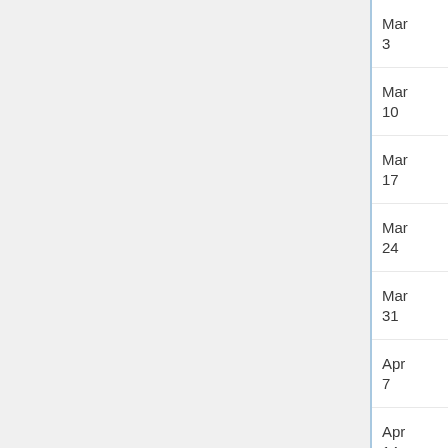| Date | Person | Institution | Title | Sp... |
| --- | --- | --- | --- | --- |
| Mar 3 | Person | Institution | Title | Sp... |
| Mar 10 | Person | Institution | Title | Sp... |
| Mar 17 | Spring Break! |  |  |  |
| Mar 24 | Person | Institution | Title | Sp... |
| Mar 31 | Person | Institution | Title | Sp... |
| Apr 7 | Person | Institution | Title | Sp... |
| Apr 14 | Person | Institution | Title | Sp... |
| Apr ... |  |  |  |  |